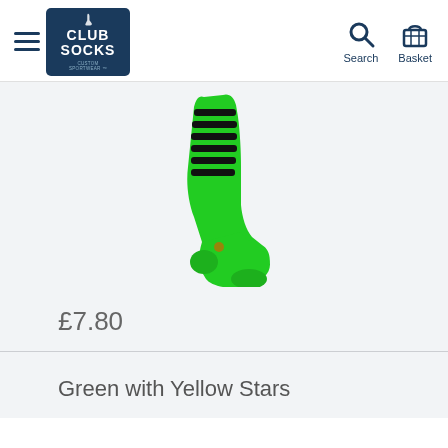[Figure (logo): Club Socks logo — dark navy blue rounded rectangle containing white text CLUB SOCKS with a small sock icon above and tagline CUSTOM SPORTWEAR below]
[Figure (photo): Green knee-high sports sock with black horizontal stripes, photographed on white/light background]
£7.80
Green with Yellow Stars